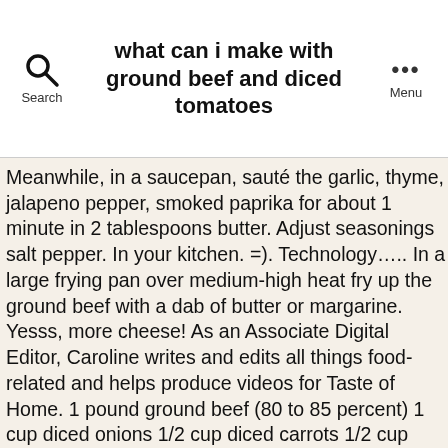what can i make with ground beef and diced tomatoes
Meanwhile, in a saucepan, sauté the garlic, thyme, jalapeno pepper, smoked paprika for about 1 minute in 2 tablespoons butter. Adjust seasonings salt pepper. In your kitchen. =). Technology….. In a large frying pan over medium-high heat fry up the ground beef with a dab of butter or margarine. Yesss, more cheese! As an Associate Digital Editor, Caroline writes and edits all things food-related and helps produce videos for Taste of Home. 1 pound ground beef (80 to 85 percent) 1 cup diced onions 1/2 cup diced carrots 1/2 cup diced green bell pepper 1/2 cup diced red (or orange, yellow, etc.) Thanks so much. 1 tablespoon chopped fresh basil . Submit your question or recipe review here. ground beef and 1/2 lb. Looks good but you might want to update the recipe to reflect that you are using Fusilli, not Macaroni. Bring a large pot of lightly salted water to a boil. Bowtie pasta, penne or elbow macaroni works fine.